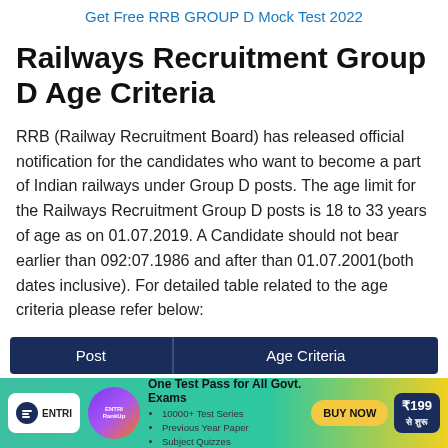Get Free RRB GROUP D Mock Test 2022
Railways Recruitment Group D Age Criteria
RRB (Railway Recruitment Board) has released official notification for the candidates who want to become a part of Indian railways under Group D posts. The age limit for the Railways Recruitment Group D posts is 18 to 33 years of age as on 01.07.2019. A Candidate should not bear earlier than 092:07.1986 and after than 01.07.2001(both dates inclusive). For detailed table related to the age criteria please refer below:
| Post | Age Criteria |
| --- | --- |
[Figure (other): ENTRI RankUp advertisement banner: One Test Pass for All Govt. Exams, 10000+ Test Series, Previous Year Paper, Subject Quizzes, BUY NOW, ₹199 से शुरू]